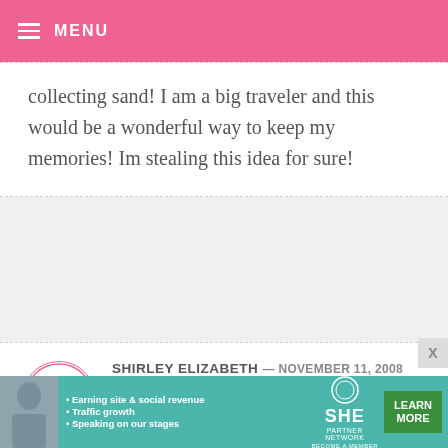MENU
collecting sand! I am a big traveler and this would be a wonderful way to keep my memories! Im stealing this idea for sure!
SHIRLEY ELIZABETH — NOVEMBER 11, 2008 @ 1:01 AM REPLY
EMERGENCY!! For the cake balls: I got the candy melts and the edible markers, but they
[Figure (infographic): Teal advertisement banner for SHE Partner Network with bullet points: Earning site & social revenue, Traffic growth, Speaking on our stages. Green LEARN MORE button.]